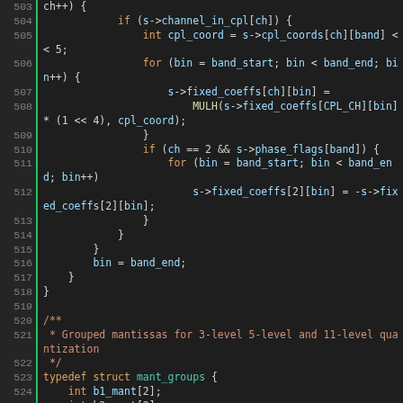[Figure (screenshot): Source code viewer showing C code lines 503-528 with syntax highlighting. Lines include a for loop iterating channels, setting fixed_coeffs using MULH function, phase_flags check, typedef struct mant_groups definition with int members b1_mant, b2_mant, b4_mant, b1, b2.]